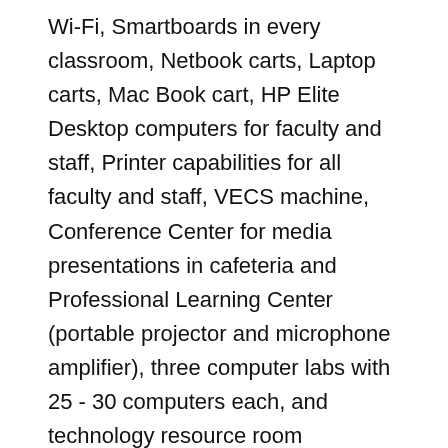Wi-Fi, Smartboards in every classroom, Netbook carts, Laptop carts, Mac Book cart, HP Elite Desktop computers for faculty and staff, Printer capabilities for all faculty and staff, VECS machine, Conference Center for media presentations in cafeteria and Professional Learning Center (portable projector and microphone amplifier), three computer labs with 25 - 30 computers each, and technology resource room
School Holidays: Labor Day, Veteran's Day, Thanksgiving, Martin L. King Jr. Holiday, Memorial Day, Christmas Break, Winter Break, and Spring Break
Notable Graduates: